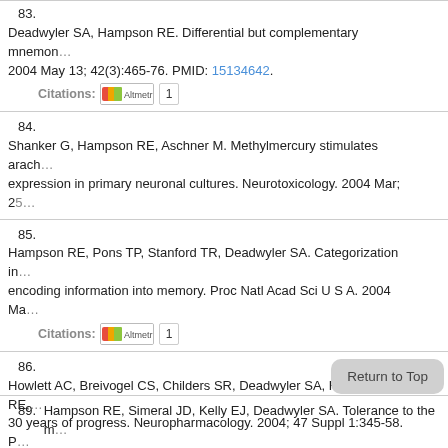83. Deadwyler SA, Hampson RE. Differential but complementary mnemon... 2004 May 13; 42(3):465-76. PMID: 15134642.
Citations: [Altmetric] 1
84. Shanker G, Hampson RE, Aschner M. Methylmercury stimulates arach... expression in primary neuronal cultures. Neurotoxicology. 2004 Mar; 25...
85. Hampson RE, Pons TP, Stanford TR, Deadwyler SA. Categorization in... encoding information into memory. Proc Natl Acad Sci U S A. 2004 Ma...
Citations: [Altmetric] 1
86. Howlett AC, Breivogel CS, Childers SR, Deadwyler SA, Hampson RE,... 30 years of progress. Neuropharmacology. 2004; 47 Suppl 1:345-58. P...
Citations: [Altmetric] 4
87. Deadwyler SA, Hayashizaki S, Cheer J, Hampson RE. Reward, memo... nucleus accumbens. Neurosci Biobehav Rev. 2004 Jan; 27(8):703-11.
88. Hampson RE, Zhuang SY, Weiner JL, Deadwy... signif... suppression of inhibition (DSI) in the hippocam... ol. 20...
89. Hampson RE, Simeral JD, Kelly EJ, Deadwyler SA. Tolerance to the m...